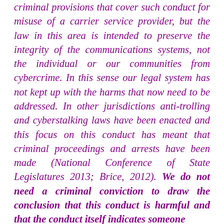criminal provisions that cover such conduct for misuse of a carrier service provider, but the law in this area is intended to preserve the integrity of the communications systems, not the individual or our communities from cybercrime. In this sense our legal system has not kept up with the harms that now need to be addressed. In other jurisdictions anti-trolling and cyberstalking laws have been enacted and this focus on this conduct has meant that criminal proceedings and arrests have been made (National Conference of State Legislatures 2013; Brice, 2012). We do not need a criminal conviction to draw the conclusion that this conduct is harmful and that the conduct itself indicates someone